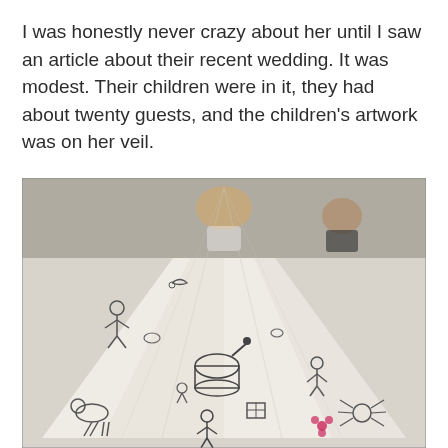I was honestly never crazy about her until I saw an article about their recent wedding. It was modest. Their children were in it, they had about twenty guests, and the children's artwork was on her veil.
[Figure (photo): A photograph of a wedding veil spread out widely, covered with children's hand-drawn artwork/doodles in marker. The bride and groom are faintly visible at the top of the image. The veil is white with numerous small drawings of figures, animals, and objects scattered across it.]